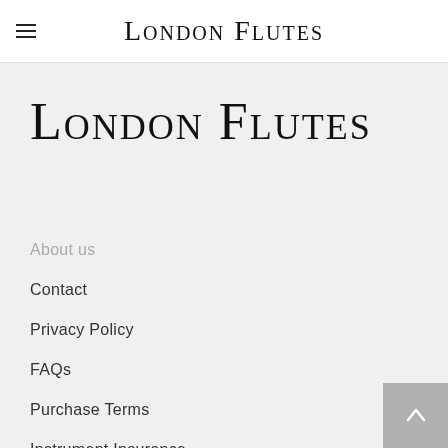London Flutes
London Flutes
About us
Contact
Privacy Policy
FAQs
Purchase Terms
Instrument Insurance